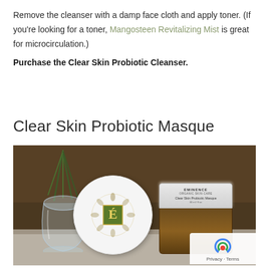Remove the cleanser with a damp face cloth and apply toner. (If you're looking for a toner, Mangosteen Revitalizing Mist is great for microcirculation.)
Purchase the Clear Skin Probiotic Cleanser.
Clear Skin Probiotic Masque
[Figure (photo): Photograph of Eminence Organics Clear Skin Probiotic Masque jar with its lid placed in front of a glass bud vase containing green stems, with green foliage in the background. A reCAPTCHA badge is visible in the bottom-right corner.]